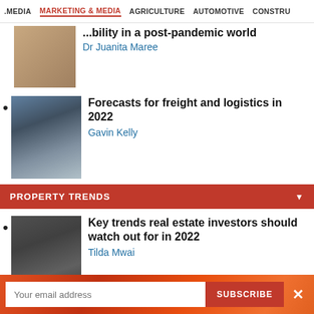.MEDIA  MARKETING & MEDIA  AGRICULTURE  AUTOMOTIVE  CONSTRU
...bility in a post-pandemic world
Dr Juanita Maree
Forecasts for freight and logistics in 2022
Gavin Kelly
PROPERTY TRENDS
Key trends real estate investors should watch out for in 2022
Tilda Mwai
Economic and business trends to focus on rural, township transformation
Herbert Seabelo Theledi
Your email address
SUBSCRIBE